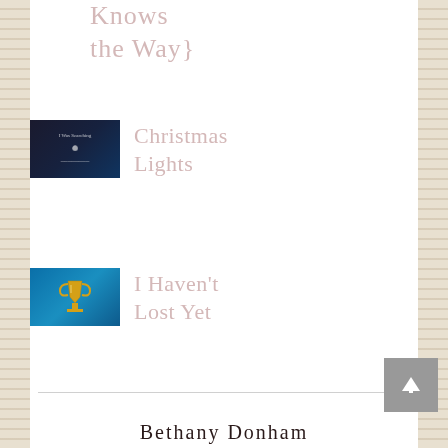Knows the Way}
Christmas Lights
I Haven't Lost Yet
Bethany Donham